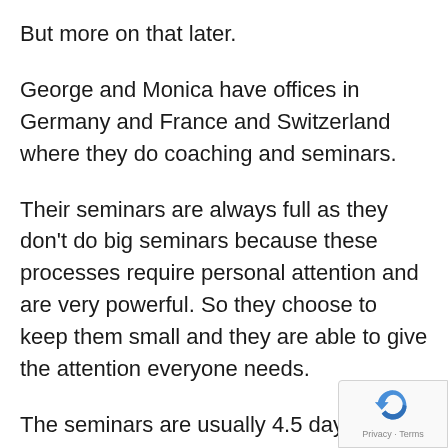But more on that later.
George and Monica have offices in Germany and France and Switzerland where they do coaching and seminars.
Their seminars are always full as they don't do big seminars because these processes require personal attention and are very powerful. So they choose to keep them small and they are able to give the attention everyone needs.
The seminars are usually 4.5 days. Their customers are some of the wealthiest and most powerful people in Europe…and well known.